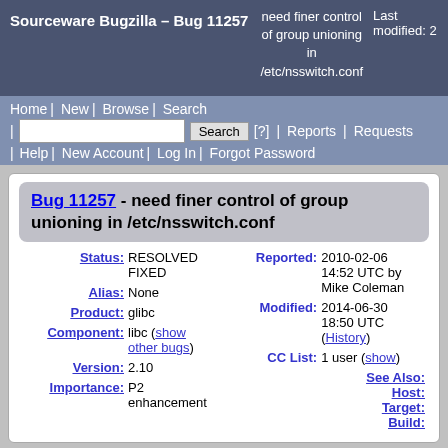Sourceware Bugzilla – Bug 11257 | need finer control of group unioning in /etc/nsswitch.conf | Last modified: 2
Home | New | Browse | Search | Search | [?] | Reports | Requests | Help | New Account | Log In | Forgot Password
Bug 11257 - need finer control of group unioning in /etc/nsswitch.conf
| Field | Value |
| --- | --- |
| Status: | RESOLVED FIXED |
| Alias: | None |
| Product: | glibc |
| Component: | libc (show other bugs) |
| Version: | 2.10 |
| Importance: | P2 enhancement |
| Reported: | 2010-02-06 14:52 UTC by Mike Coleman |
| Modified: | 2014-06-30 18:50 UTC (History) |
| CC List: | 1 user (show) |
| See Also: |  |
| Host: |  |
| Target: |  |
| Build: |  |